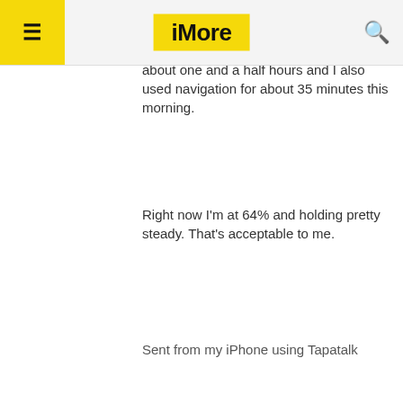iMore
time including streaming audio via Bluetooth to my car speakers. Streaming audio was about one and a half hours and I also used navigation for about 35 minutes this morning.
Right now I'm at 64% and holding pretty steady. That's acceptable to me.
Sent from my iPhone using Tapatalk
10-15-2015 01:32 PM
Not Quite Right
Trusted Member
Two words … errrr one word … Facebook … Facebook Aware of iOS App Battery Life Drain Issue and Working on a Fix – Mac Rumors